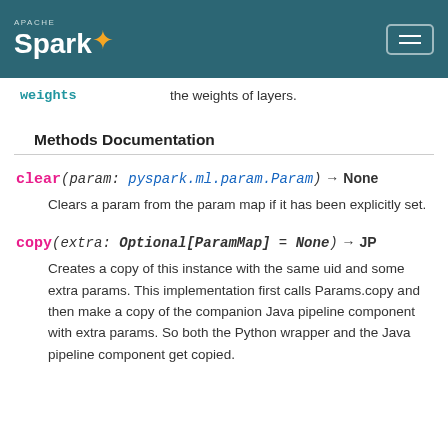Apache Spark logo and navigation
weights    the weights of layers.
Methods Documentation
clear(param: pyspark.ml.param.Param) → None
Clears a param from the param map if it has been explicitly set.
copy(extra: Optional[ParamMap] = None) → JP
Creates a copy of this instance with the same uid and some extra params. This implementation first calls Params.copy and then make a copy of the companion Java pipeline component with extra params. So both the Python wrapper and the Java pipeline component get copied.